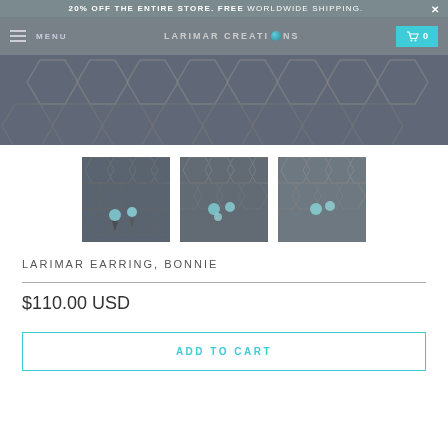20% OFF THE ENTIRE STORE. FREE WORLDWIDE SHIPPING.
[Figure (screenshot): Navigation bar with menu icon, LARIMAR CREATIONS logo with globe icon, and cart button showing 0 items]
[Figure (photo): Hero banner image showing dark grey hexagonal tile pattern]
[Figure (photo): Three product thumbnail images of Larimar earrings (Bonnie style) displayed on hexagonal tile background, showing blue-green larimar stone earrings from different angles]
LARIMAR EARRING, BONNIE
$110.00 USD
ADD TO CART